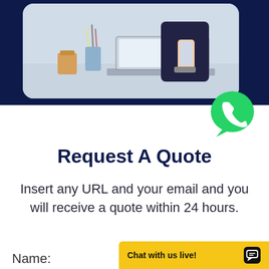[Figure (photo): Business person at a desk holding a smartphone, with a laptop, coffee cup, and pencil holder visible. Cropped circular/rounded rectangle image on dark navy background.]
[Figure (logo): WhatsApp logo — green circle with white phone handset icon and speech bubble shape.]
Request A Quote
Insert any URL and your email and you will receive a quote within 24 hours.
Name:
Chat with us live!